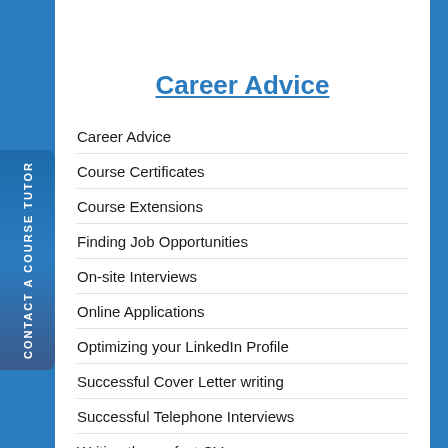[Figure (illustration): Light blue decorative header banner with faint silhouette figures]
Career Advice
Career Advice
Course Certificates
Course Extensions
Finding Job Opportunities
On-site Interviews
Online Applications
Optimizing your LinkedIn Profile
Successful Cover Letter writing
Successful Telephone Interviews
Writing the perfect CV
CONTACT A COURSE TUTOR